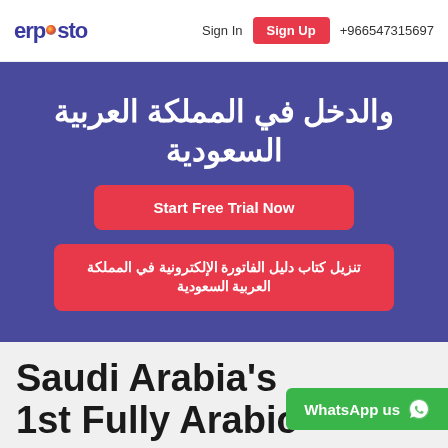erpesto  Sign In  Sign Up  +966547315697
والدخل في المملكة العربية السعودية
Start Free Trial Now
تنزيل كتاب دليل الفاتورة الإلكترونية في المملكة العربية السعودية
Saudi Arabia's 1st Fully Arabic
WhatsApp us